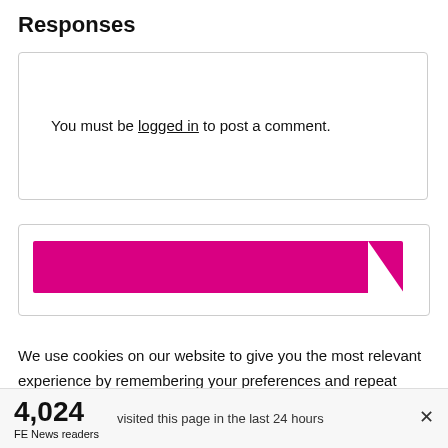Responses
You must be logged in to post a comment.
[Figure (other): Partial view of a card with a pink/magenta decorative bar, partially visible below the login box area.]
We use cookies on our website to give you the most relevant experience by remembering your preferences and repeat visits. By clicking “Accept”, you consent to the use of ALL the cookies. However you may visit Cookie
4,024 FE News readers   visited this page in the last 24 hours